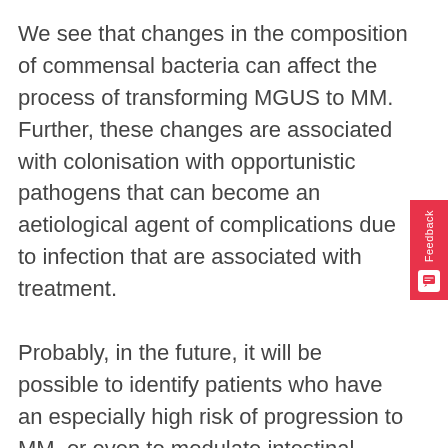We see that changes in the composition of commensal bacteria can affect the process of transforming MGUS to MM. Further, these changes are associated with colonisation with opportunistic pathogens that can become an aetiological agent of complications due to infection that are associated with treatment.
Probably, in the future, it will be possible to identify patients who have an especially high risk of progression to MM, or even to modulate intestinal microflora to